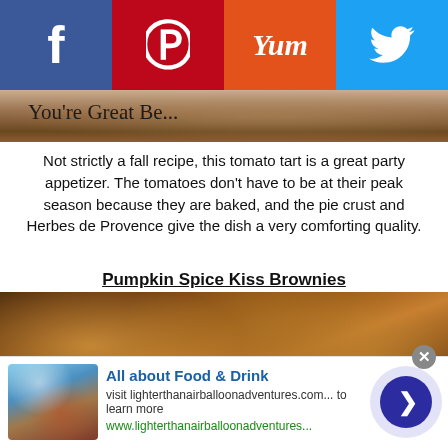[Figure (other): Social sharing bar with Facebook, Pinterest, Yummly, and Twitter buttons]
[Figure (photo): Partial food photo at top with cursive text overlay reading 'You're Great Be...']
Not strictly a fall recipe, this tomato tart is a great party appetizer. The tomatoes don't have to be at their peak season because they are baked, and the pie crust and Herbes de Provence give the dish a very comforting quality.
Pumpkin Spice Kiss Brownies
[Figure (photo): Close-up photo of pumpkin spice kiss brownies on a plate, showing chocolate and pumpkin swirl texture]
[Figure (other): Advertisement banner: All about Food & Drink, visit lighterthanairballoonadventures.com... to learn more, www.lighterthanairballoonadventures...]